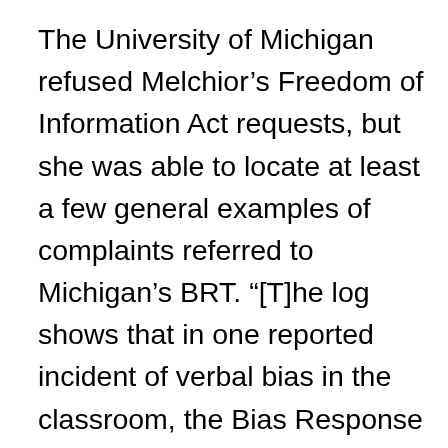The University of Michigan refused Melchior’s Freedom of Information Act requests, but she was able to locate at least a few general examples of complaints referred to Michigan’s BRT. “[T]he log shows that in one reported incident of verbal bias in the classroom, the Bias Response Team said it referred a university employee to administrators who [shared concerns with the academic department involved. In several other cases, the Bias Response Team determined that some reported acts of